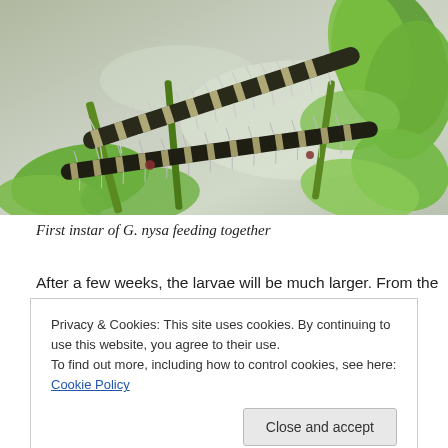[Figure (photo): Close-up photograph of first instar caterpillars (G. nysa) feeding together on green plant stems and leaves on a metallic surface. The caterpillars are dark with striped patterns and visible hairs/setae.]
First instar of G. nysa feeding together
After a few weeks, the larvae will be much larger. From the
Privacy & Cookies: This site uses cookies. By continuing to use this website, you agree to their use.
To find out more, including how to control cookies, see here: Cookie Policy
Close and accept